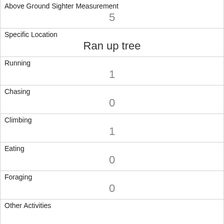| Above Ground Sighter Measurement | 5 |
| Specific Location | Ran up tree |
| Running | 1 |
| Chasing | 0 |
| Climbing | 1 |
| Eating | 0 |
| Foraging | 0 |
| Other Activities |  |
| Kuks | 1 |
| Quaas | 0 |